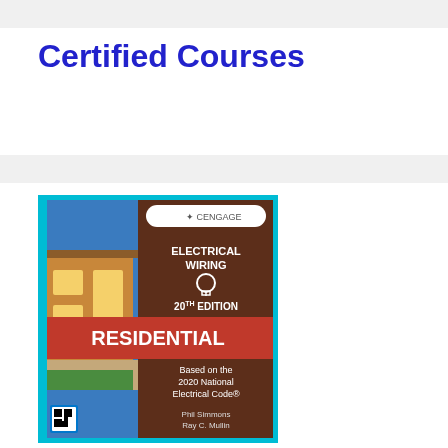Certified Courses
[Figure (illustration): Book cover of 'Electrical Wiring Residential, 20th Edition' published by Cengage. Based on the 2020 National Electrical Code. Authors: Phil Simmons, Ray C. Mullin. Cover shows a house exterior with warm lighting, blue sky background.]